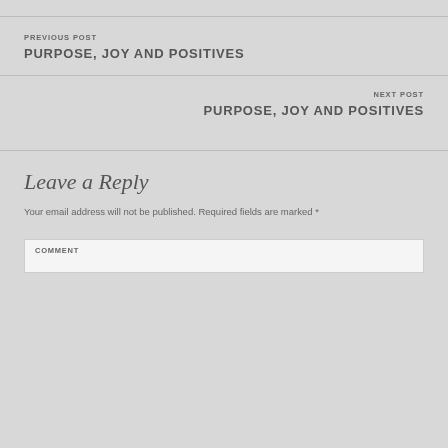PREVIOUS POST PURPOSE, JOY AND POSITIVES
NEXT POST PURPOSE, JOY AND POSITIVES
Leave a Reply
Your email address will not be published. Required fields are marked *
COMMENT